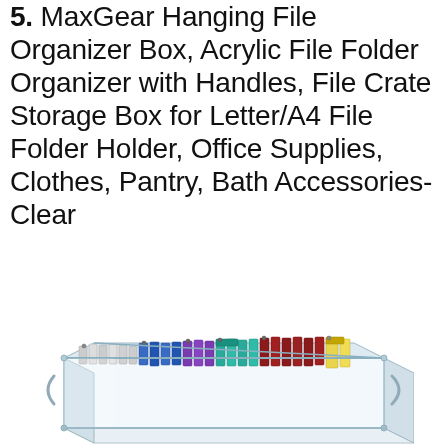5. MaxGear Hanging File Organizer Box, Acrylic File Folder Organizer with Handles, File Crate Storage Box for Letter/A4 File Folder Holder, Office Supplies, Clothes, Pantry, Bath Accessories-Clear
[Figure (photo): A clear acrylic hanging file organizer box filled with colorful hanging file folders in blue, purple, teal, dark red/maroon, and yellow, viewed from a slight angle showing the transparent sides and handles.]